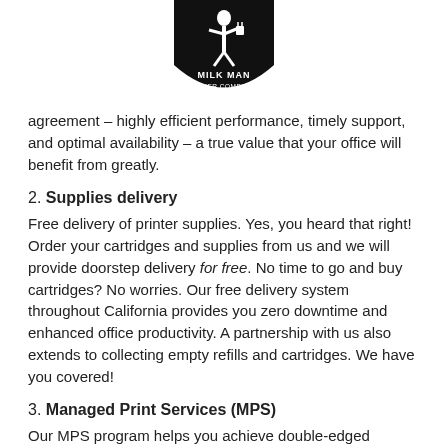[Figure (logo): Milk Man Toner Company logo — black shield shape with a figure carrying shopping bags and the text MILK MAN TONER COMPANY]
agreement – highly efficient performance, timely support, and optimal availability – a true value that your office will benefit from greatly.
2. Supplies delivery
Free delivery of printer supplies. Yes, you heard that right! Order your cartridges and supplies from us and we will provide doorstep delivery for free. No time to go and buy cartridges? No worries. Our free delivery system throughout California provides you zero downtime and enhanced office productivity. A partnership with us also extends to collecting empty refills and cartridges. We have you covered!
3. Managed Print Services (MPS)
Our MPS program helps you achieve double-edged benefits –
1. End to End managed services at the hands of our experts.